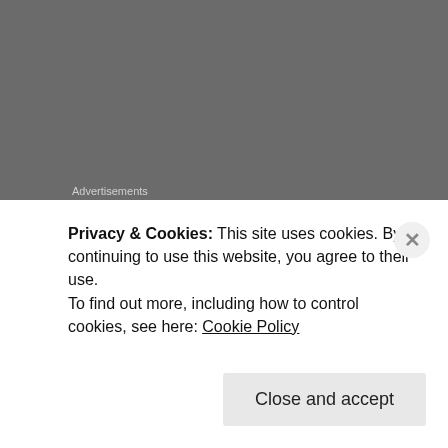Advertisements
[Figure (other): Red advertisement banner bar]
Last week, we took him to Secret Recipe in Plaza Sing for a farewell lunch … that's probably the last time I'll be there … because they don't serve water (that and their veggie options were only okay) … I have issue with places that can't serve tap water … one of my many reasons Sa Bahrain is out for
Privacy & Cookies: This site uses cookies. By continuing to use this website, you agree to their use.
To find out more, including how to control cookies, see here: Cookie Policy
Close and accept